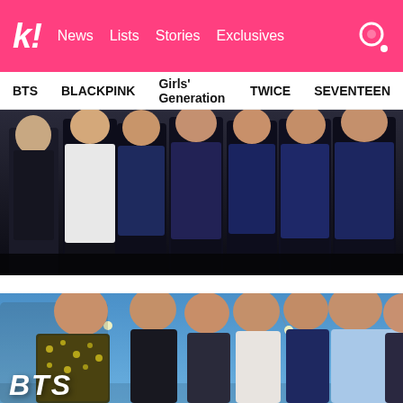k! News Lists Stories Exclusives
BTS BLACKPINK Girls' Generation TWICE SEVENTEEN
[Figure (photo): Group photo of K-pop artists in dark outfits against a dark background]
[Figure (photo): BTS group photo against a blue sky background with hanging lights, BTS label in bottom left corner]